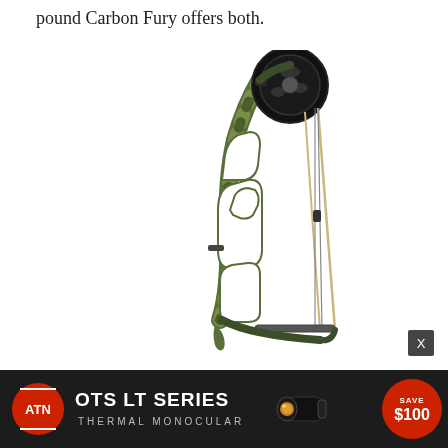pound Carbon Fury offers both.
[Figure (photo): A compound bow in camouflage pattern (Carbon Fury) shown vertically with black cam system at top, camo-patterned riser, and bowstring. The bow features a cut-out riser design and stabilizer bar.]
[Figure (photo): Advertisement banner for ATN OTS LT Series Thermal Monocular with a red circle badge showing SAVE $100. Dark background with product image of the monocular.]